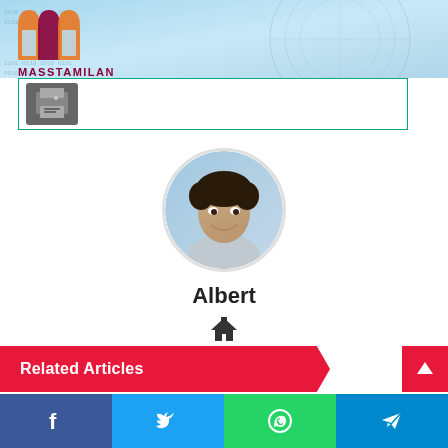[Figure (logo): Masstamilan logo with stylized M shape in orange and maroon, with text MASSTAMILAN below, on a light blue tech-themed background]
[Figure (illustration): Dark grey printer icon on dark grey square button, inside teal-bordered white box]
[Figure (photo): Circular cropped portrait photo of a smiling young man with curly dark hair wearing a grey shirt]
Albert
[Figure (illustration): Home/house icon in dark color]
Related Articles
[Figure (illustration): Social sharing bar with Facebook, Twitter, WhatsApp, and Telegram icons]